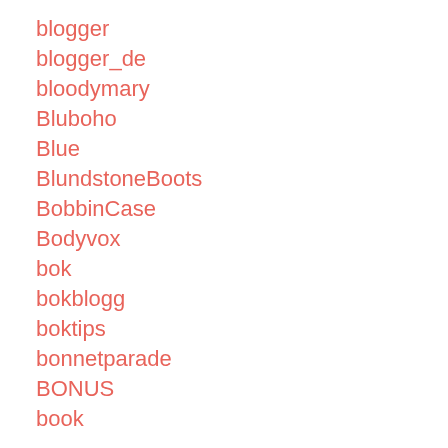blogger
blogger_de
bloodymary
Bluboho
Blue
BlundstoneBoots
BobbinCase
Bodyvox
bok
bokblogg
boktips
bonnetparade
BONUS
book